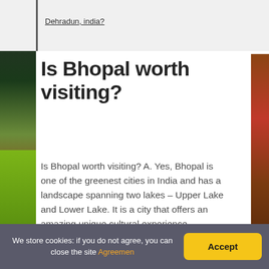Dehradun, india?
Is Bhopal worth visiting?
Is Bhopal worth visiting? A. Yes, Bhopal is one of the greenest cities in India and has a landscape spanning two lakes – Upper Lake and Lower Lake. It is a city that offers an amazing unique cultural experience.
We store cookies: if you do not agree, you can close the site Agreemen  Accept